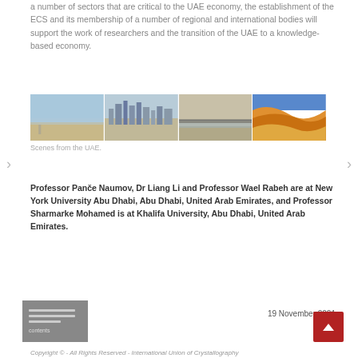a number of sectors that are critical to the UAE economy, the establishment of the ECS and its membership of a number of regional and international bodies will support the work of researchers and the transition of the UAE to a knowledge-based economy.
[Figure (photo): Four photos side by side showing scenes from the UAE: beach, city skyline, bridge over water, and sand dunes.]
Scenes from the UAE.
Professor Pančе Naumov, Dr Liang Li and Professor Wael Rabeh are at New York University Abu Dhabi, Abu Dhabi, United Arab Emirates, and Professor Sharmarke Mohamed is at Khalifa University, Abu Dhabi, United Arab Emirates.
19 November 2021
Copyright © - All Rights Reserved - International Union of Crystallography